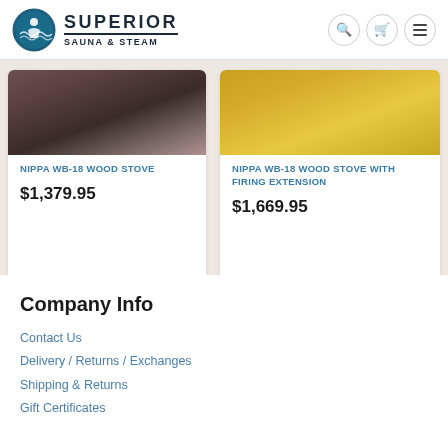Superior Sauna & Steam
[Figure (screenshot): Product card showing NIPPA WB-18 WOOD STOVE with a dark image of the stove]
NIPPA WB-18 WOOD STOVE
$1,379.95
[Figure (screenshot): Product card showing NIPPA WB-18 WOOD STOVE WITH FIRING EXTENSION with a yellow/golden image]
NIPPA WB-18 WOOD STOVE WITH FIRING EXTENSION
$1,669.95
Company Info
Contact Us
Delivery / Returns / Exchanges
Shipping & Returns
Gift Certificates